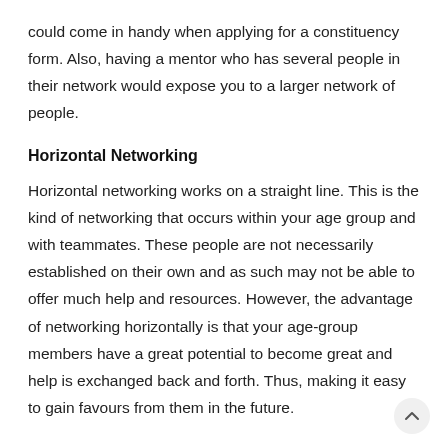could come in handy when applying for a constituency form. Also, having a mentor who has several people in their network would expose you to a larger network of people.
Horizontal Networking
Horizontal networking works on a straight line. This is the kind of networking that occurs within your age group and with teammates. These people are not necessarily established on their own and as such may not be able to offer much help and resources. However, the advantage of networking horizontally is that your age-group members have a great potential to become great and help is exchanged back and forth. Thus, making it easy to gain favours from them in the future.